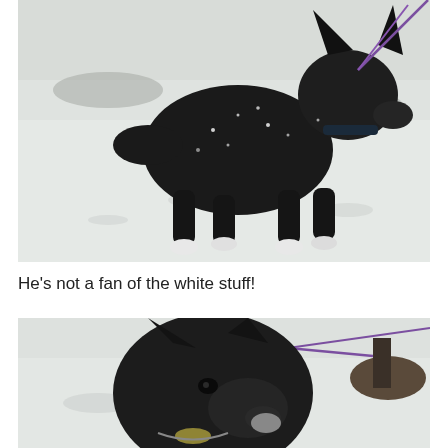[Figure (photo): A dark/black dog with white paws and pointed ears standing in snow, viewed from the side. The dog is on a purple leash. Snowflakes are visible on the dog's back. Snow-covered ground with some dark patches visible.]
He's not a fan of the white stuff!
[Figure (photo): Close-up portrait of the same dark dog with pointed ears and a purple leash, looking upward/to the side. A tree base with a dark ring around it is visible in the snowy background.]